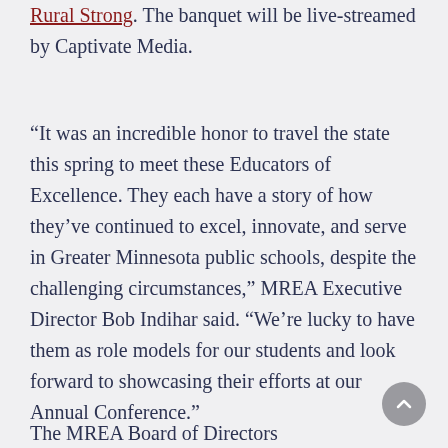Rural Strong. The banquet will be live-streamed by Captivate Media.
“It was an incredible honor to travel the state this spring to meet these Educators of Excellence. They each have a story of how they’ve continued to excel, innovate, and serve in Greater Minnesota public schools, despite the challenging circumstances,” MREA Executive Director Bob Indihar said. “We’re lucky to have them as role models for our students and look forward to showcasing their efforts at our Annual Conference.”
The MREA Board of Directors